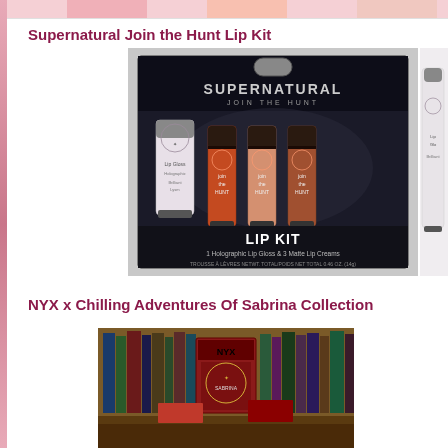[Figure (photo): Top strip showing partial product images from a previous section]
Supernatural Join the Hunt Lip Kit
[Figure (photo): Supernatural Join the Hunt Lip Kit product packaging showing 1 Holographic Lip Gloss and 3 Matte Lip Creams in dark packaging with SUPERNATURAL JOIN THE HUNT branding]
NYX x Chilling Adventures Of Sabrina Collection
[Figure (photo): NYX x Chilling Adventures of Sabrina Collection product image showing items in front of a bookshelf background]